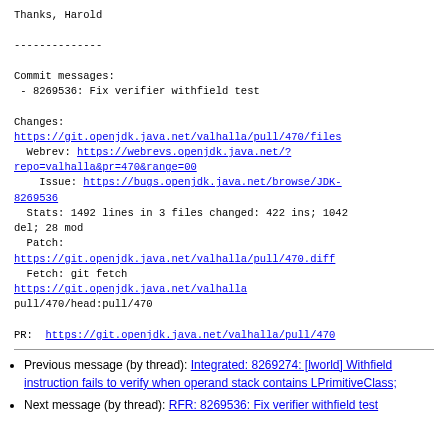Thanks, Harold

--------------

Commit messages:
 - 8269536: Fix verifier withfield test

Changes:
https://git.openjdk.java.net/valhalla/pull/470/files
  Webrev: https://webrevs.openjdk.java.net/?repo=valhalla&pr=470&range=00
    Issue: https://bugs.openjdk.java.net/browse/JDK-8269536
  Stats: 1492 lines in 3 files changed: 422 ins; 1042 del; 28 mod
  Patch:
https://git.openjdk.java.net/valhalla/pull/470.diff
  Fetch: git fetch https://git.openjdk.java.net/valhalla pull/470/head:pull/470

PR:  https://git.openjdk.java.net/valhalla/pull/470
Previous message (by thread): Integrated: 8269274: [lworld] Withfield instruction fails to verify when operand stack contains LPrimitiveClass;
Next message (by thread): RFR: 8269536: Fix verifier withfield test